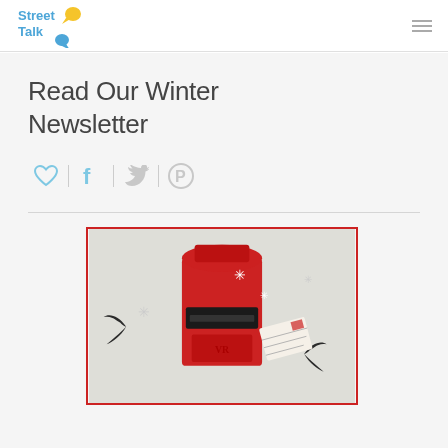Street Talk [logo]
Read Our Winter Newsletter
[Figure (infographic): Social sharing icons row: heart (like), Facebook f, Twitter bird, Pinterest P, separated by vertical dividers]
[Figure (photo): Textile/embroidery artwork showing a red British post box with black slot, surrounded by swallow/bird silhouettes, snowflake stars, and a letter/envelope, on a light linen background, framed with a red border]